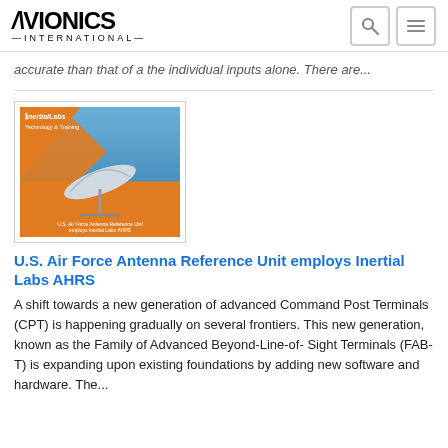Avionics International
accurate than that of a the individual inputs alone. There are...
[Figure (photo): Book cover for U.S. Air Force Antenna Reference Unit featuring a satellite dish on an orange and blue background, branded with Inertial Labs logo.]
U.S. Air Force Antenna Reference Unit employs Inertial Labs AHRS
A shift towards a new generation of advanced Command Post Terminals (CPT) is happening gradually on several frontiers. This new generation, known as the Family of Advanced Beyond-Line-of- Sight Terminals (FAB-T) is expanding upon existing foundations by adding new software and hardware. The...